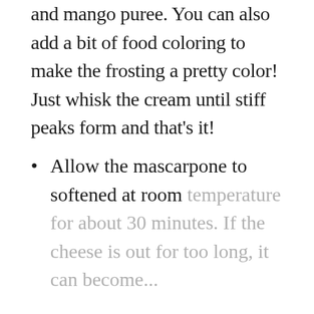and mango puree. You can also add a bit of food coloring to make the frosting a pretty color! Just whisk the cream until stiff peaks form and that's it!
Allow the mascarpone to softened at room temperature for about 30 minutes. If the cheese is out for too long, it can become...